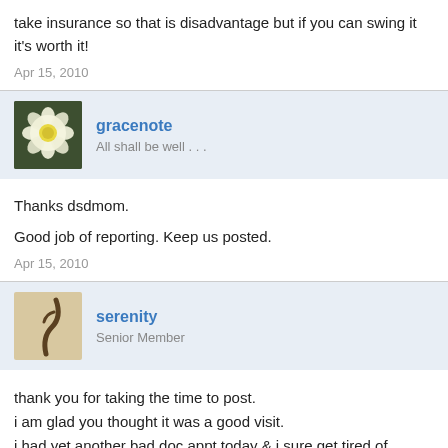take insurance so that is disadvantage but if you can swing it it's worth it!
Apr 15, 2010
[Figure (photo): Avatar image of gracenote showing white and yellow flowers]
gracenote
All shall be well . . .
Thanks dsdmom.
Good job of reporting. Keep us posted.
Apr 15, 2010
[Figure (photo): Avatar image of serenity showing a curved plant stem]
serenity
Senior Member
thank you for taking the time to post.
i am glad you thought it was a good visit.
i had yet another bad doc appt today & i sure get tired of